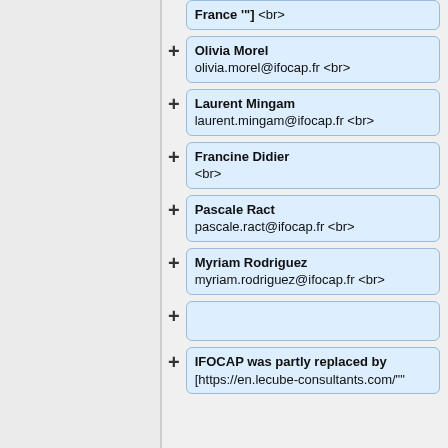France '"] <br>
Olivia Morel olivia.morel@ifocap.fr <br>
Laurent Mingam laurent.mingam@ifocap.fr <br>
Francine Didier <br>
Pascale Ract pascale.ract@ifocap.fr <br>
Myriam Rodriguez myriam.rodriguez@ifocap.fr <br>
IFOCAP was partly replaced by [https://en.lecube-consultants.com/""